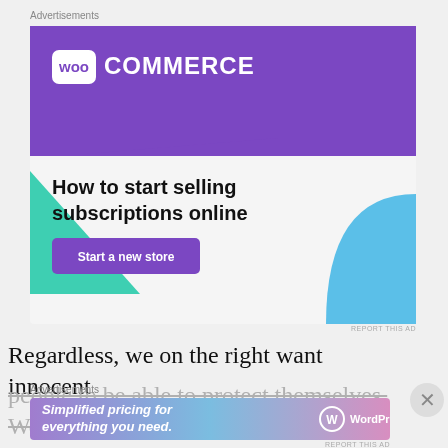Advertisements
[Figure (illustration): WooCommerce advertisement banner with purple header, WooCommerce logo, teal triangle shape, light blue curved shape, headline 'How to start selling subscriptions online', and purple 'Start a new store' button]
Regardless, we on the right want innocent
people to be able to protect themselves. We
Advertisements
[Figure (illustration): WordPress.com advertisement with gradient purple/blue background showing 'Simplified pricing for everything you need.' and WordPress.com logo]